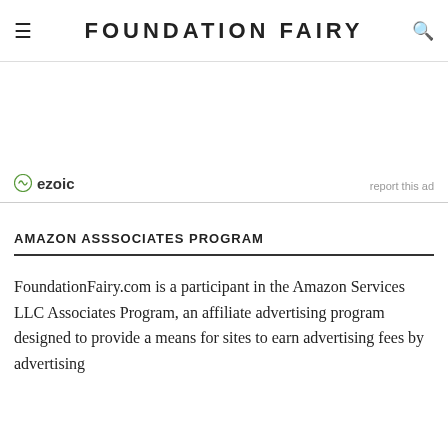FOUNDATION FAIRY
[Figure (logo): Ezoic badge logo with circular icon and 'ezoic' text, plus 'report this ad' link]
AMAZON ASSSOCIATES PROGRAM
FoundationFairy.com is a participant in the Amazon Services LLC Associates Program, an affiliate advertising program designed to provide a means for sites to earn advertising fees by advertising